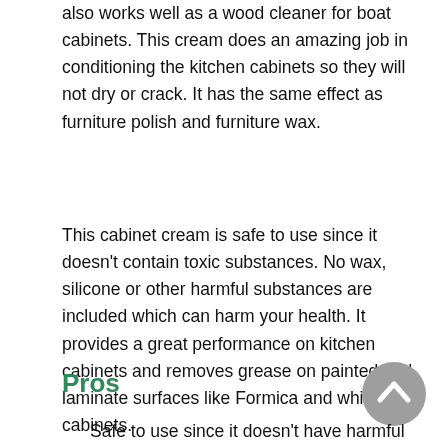also works well as a wood cleaner for boat cabinets. This cream does an amazing job in conditioning the kitchen cabinets so they will not dry or crack. It has the same effect as furniture polish and furniture wax.
This cabinet cream is safe to use since it doesn't contain toxic substances. No wax, silicone or other harmful substances are included which can harm your health. It provides a great performance on kitchen cabinets and removes grease on painted and laminate surfaces like Formica and white cabinets.
Pros
Safe to use since it doesn't have harmful